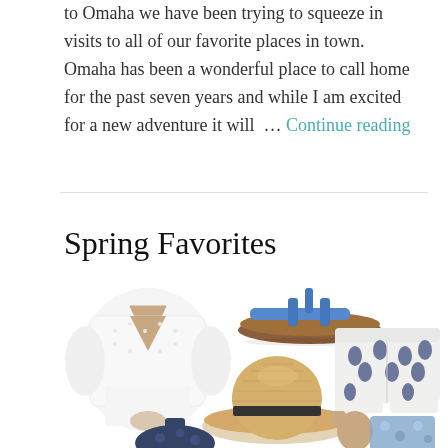to Omaha we have been trying to squeeze in visits to all of our favorite places in town. Omaha has been a wonderful place to call home for the past seven years and while I am excited for a new adventure it will … Continue reading
Spring Favorites
[Figure (photo): Collage of spring fashion items: white lace blouse, brown leather sandals with blue straps, blue printed shorts, straw panama hat with black band, dark blue floral top, and a floral wrap dress]